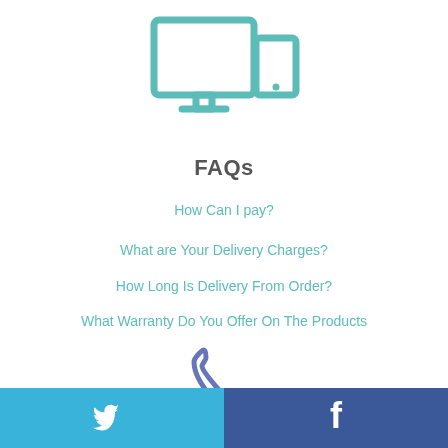[Figure (illustration): Teal/green icon showing a desktop monitor with a tablet device beside it]
FAQs
How Can I pay?
What are Your Delivery Charges?
How Long Is Delivery From Order?
What Warranty Do You Offer On The Products
[Figure (illustration): Blue/indigo telephone handset icon]
Call us on
[Figure (illustration): Footer bar with Twitter bird icon on blue-left and Facebook f icon on dark-blue-right]